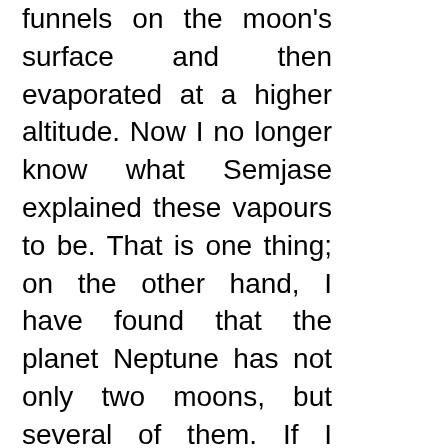funnels on the moon's surface and then evaporated at a higher altitude. Now I no longer know what Semjase explained these vapours to be. That is one thing; on the other hand, I have found that the planet Neptune has not only two moons, but several of them. If I remember correctly, I counted their